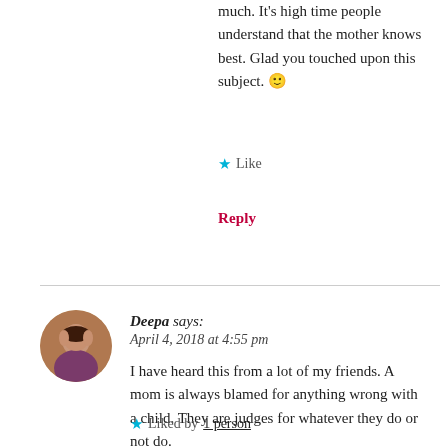much. It's high time people understand that the mother knows best. Glad you touched upon this subject. 🙂
★ Like
Reply
Deepa says:
April 4, 2018 at 4:55 pm
I have heard this from a lot of my friends. A mom is always blamed for anything wrong with a child. They are judges for whatever they do or not do.
★ Liked by 1 person